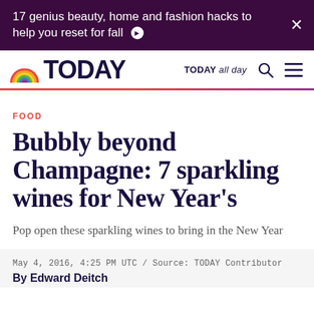17 genius beauty, home and fashion hacks to help you reset for fall ❯
[Figure (logo): TODAY show logo with rainbow semicircle icon and TODAY wordmark, plus TODAY all day nav and search/hamburger icons]
FOOD
Bubbly beyond Champagne: 7 sparkling wines for New Year's
Pop open these sparkling wines to bring in the New Year
May 4, 2016, 4:25 PM UTC / Source: TODAY Contributor
By Edward Deitch